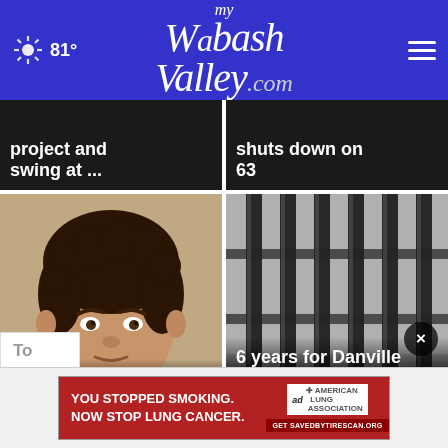81° my Wabash Valley .com
project and swing at ...
shuts down on 63
[Figure (photo): Mugshot of a young man with curly dark hair]
Franklin man arrested after missing girl found
[Figure (photo): Jail bars in black and white]
6 years for Danville man for Domestic Battery
[Figure (other): Ad banner: YOU STOPPED SMOKING. NOW STOP LUNG CANCER. American Lung Association. Get SAVEDBYTIRESCAN.ORG]
To